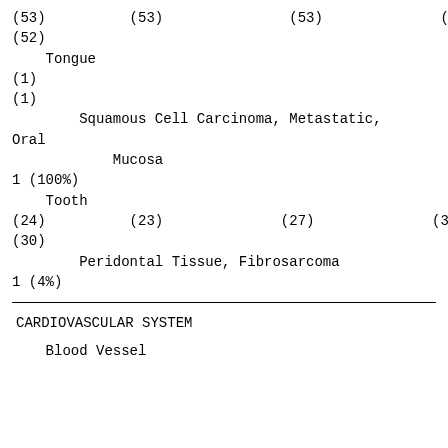(53)          (53)               (53)              (53)
(52)
Tongue
(1)
(1)
Squamous Cell Carcinoma, Metastatic,
Oral
Mucosa
1 (100%)
Tooth
(24)          (23)              (27)              (37)
(30)
Peridontal Tissue, Fibrosarcoma
1 (4%)
CARDIOVASCULAR SYSTEM
Blood Vessel